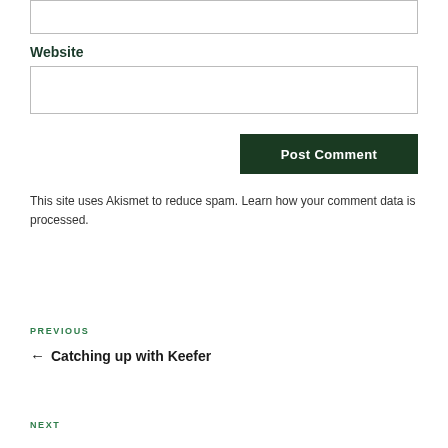Website
This site uses Akismet to reduce spam. Learn how your comment data is processed.
PREVIOUS
← Catching up with Keefer
NEXT